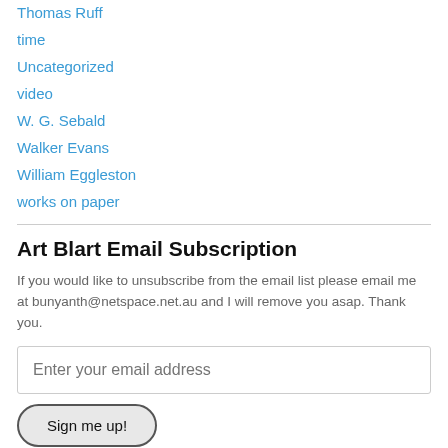Thomas Ruff
time
Uncategorized
video
W. G. Sebald
Walker Evans
William Eggleston
works on paper
Art Blart Email Subscription
If you would like to unsubscribe from the email list please email me at bunyanth@netspace.net.au and I will remove you asap. Thank you.
Join 2,865 other followers